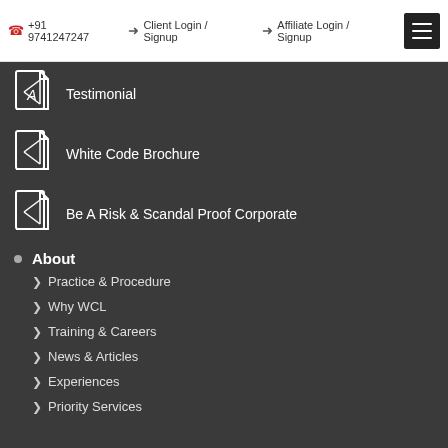+91 9741247247 | Client Login / Signup | Affiliate Login / Signup
Testimonial
White Code Brochure
Be A Risk & Scandal Proof Corporate
About
Practice & Procedure
Why WCL
Training & Careers
News & Articles
Experiences
Priority Services